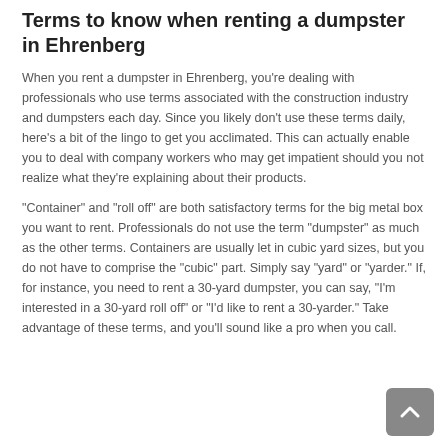Terms to know when renting a dumpster in Ehrenberg
When you rent a dumpster in Ehrenberg, you're dealing with professionals who use terms associated with the construction industry and dumpsters each day. Since you likely don't use these terms daily, here's a bit of the lingo to get you acclimated. This can actually enable you to deal with company workers who may get impatient should you not realize what they're explaining about their products.
"Container" and "roll off" are both satisfactory terms for the big metal box you want to rent. Professionals do not use the term "dumpster" as much as the other terms. Containers are usually let in cubic yard sizes, but you do not have to comprise the "cubic" part. Simply say "yard" or "yarder." If, for instance, you need to rent a 30-yard dumpster, you can say, "I'm interested in a 30-yard roll off" or "I'd like to rent a 30-yarder." Take advantage of these terms, and you'll sound like a pro when you call.